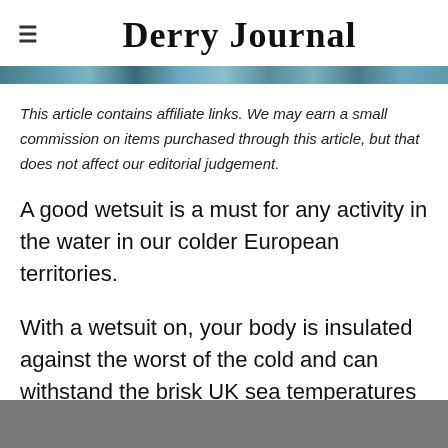Derry Journal
This article contains affiliate links. We may earn a small commission on items purchased through this article, but that does not affect our editorial judgement.
A good wetsuit is a must for any activity in the water in our colder European territories.
With a wetsuit on, your body is insulated against the worst of the cold and can withstand the brisk UK sea temperatures as well as protect you against the wind.